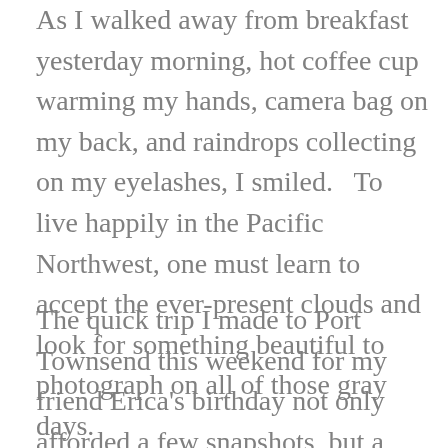As I walked away from breakfast yesterday morning, hot coffee cup warming my hands, camera bag on my back, and raindrops collecting on my eyelashes, I smiled.   To live happily in the Pacific Northwest, one must learn to accept the ever-present clouds and look for something beautiful to photograph on all of those gray days.
The quick trip I made to Port Townsend this weekend for my friend Erica's birthday not only afforded a few snapshots, but a few chance meetings and new discoveries.  It was a great weekend